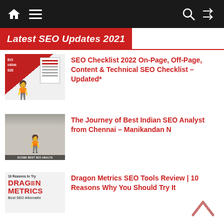Navigation bar with home, menu, search, and shuffle icons
Latest SEO Updates 2021
SEO Checklist 2022 On-Page, Off-Page, Content & Technical SEO Checklist – Updated*
The Journey of Best Indian SEO Analyst from Chennai – Manikandan N
Dragon Metrics SEO Tools Review | 10 Reasons Why You Should Try It